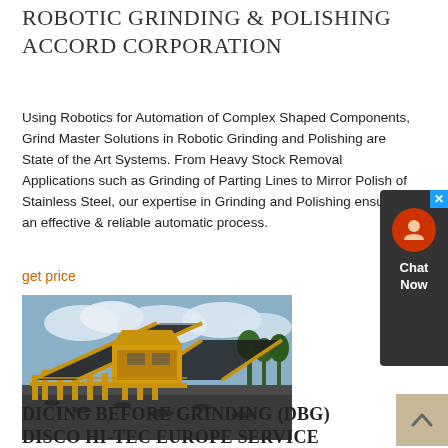ROBOTIC GRINDING & POLISHING ACCORD CORPORATION
Using Robotics for Automation of Complex Shaped Components, Grind Master Solutions in Robotic Grinding and Polishing are State of the Art Systems. From Heavy Stock Removal Applications such as Grinding of Parting Lines to Mirror Polish of Stainless Steel, our expertise in Grinding and Polishing ensures an effective & reliable automatic process.
get price
[Figure (photo): Large yellow industrial grinding/crushing machine with conveyor belts on a dark gravel surface with trees and cloudy sky in background]
DICING BEFORE GRINDING (DBG) DISCO HI-TEC EUROPE SERVICE